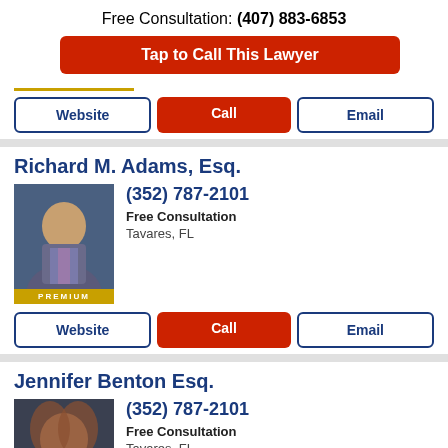Free Consultation: (407) 883-6853
Tap to Call This Lawyer
Website | Call | Email
Richard M. Adams, Esq.
(352) 787-2101
Free Consultation
Tavares, FL
[Figure (photo): Professional headshot of Richard M. Adams, Esq. wearing a suit and purple tie, with PREMIUM label at bottom]
Website | Call | Email
Jennifer Benton Esq.
(352) 787-2101
Free Consultation
Tavares, FL
[Figure (photo): Professional headshot of Jennifer Benton Esq.]